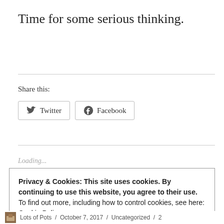Time for some serious thinking.
Share this:
Twitter  Facebook
Loading...
Privacy & Cookies: This site uses cookies. By continuing to use this website, you agree to their use.
To find out more, including how to control cookies, see here:
Cookie Policy
Close and accept
Lots of Pots / October 7, 2017 / Uncategorized / 2